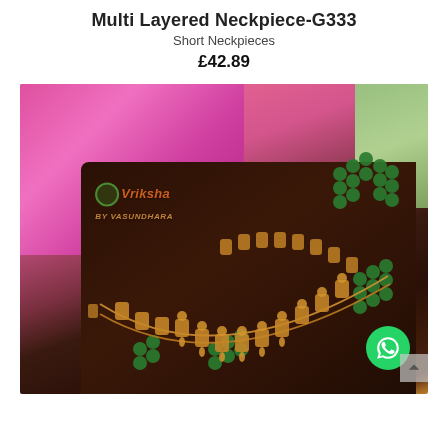Multi Layered Neckpiece-G333
Short Neckpieces
£42.89
[Figure (photo): Product photo of a multi-layered gold neckpiece with green stone accents displayed on dark fabric with pink and green sarees in background. Vriksha watermark visible in center.]